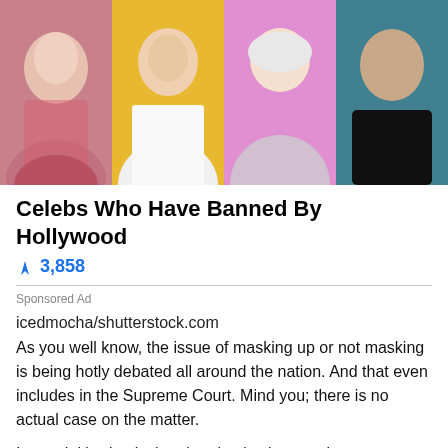[Figure (photo): Collage of four celebrities side by side: woman in pink dress (left), young man with chain necklace on yellow background, woman with light hair on pink background, man in black shirt on teal background]
Celebs Who Have Banned By Hollywood
🔥 3,858
Sponsored Ad
icedmocha/shutterstock.com
As you well know, the issue of masking up or not masking is being hotly debated all around the nation. And that even includes in the Supreme Court. Mind you; there is no actual case on the matter.
Instead, it's simply that the nine justices can't seem to